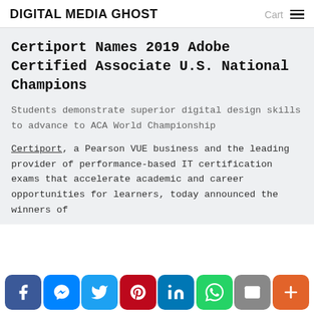DIGITAL MEDIA GHOST
Certiport Names 2019 Adobe Certified Associate U.S. National Champions
Students demonstrate superior digital design skills to advance to ACA World Championship
Certiport, a Pearson VUE business and the leading provider of performance-based IT certification exams that accelerate academic and career opportunities for learners, today announced the winners of
Social share bar: Facebook, Messenger, Twitter, Pinterest, LinkedIn, WhatsApp, Email, More